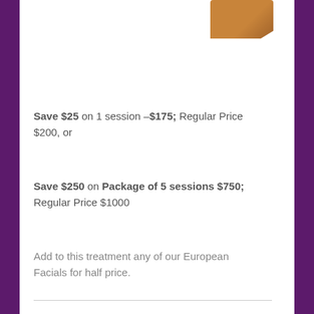[Figure (photo): Partial image of a brown/tan object (possibly a spa or beauty product) visible at the top right corner of the white card area.]
Save $25 on 1 session –$175; Regular Price $200, or
Save $250 on Package of 5 sessions $750; Regular Price $1000
Add to this treatment any of our European Facials for half price.